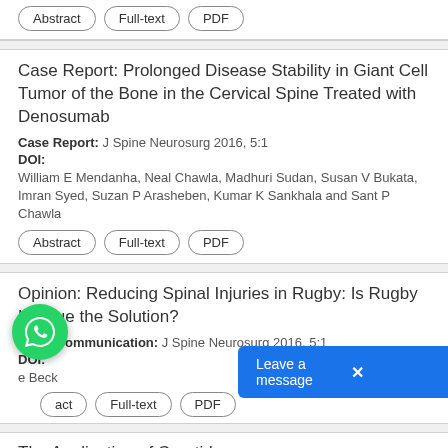Abstract | Full-text | PDF (top strip)
Case Report: Prolonged Disease Stability in Giant Cell Tumor of the Bone in the Cervical Spine Treated with Denosumab
Case Report: J Spine Neurosurg 2016, 5:1
DOI:
William E Mendanha, Neal Chawla, Madhuri Sudan, Susan V Bukata, Imran Syed, Suzan P Arasheben, Kumar K Sankhala and Sant P Chawla
Abstract | Full-text | PDF
Opinion: Reducing Spinal Injuries in Rugby: Is Rugby League the Solution?
Short Communication: J Spine Neurosurg 2016, 5:1
DOI:
e Beck
act | Full-text | PDF
The Application of Carotid